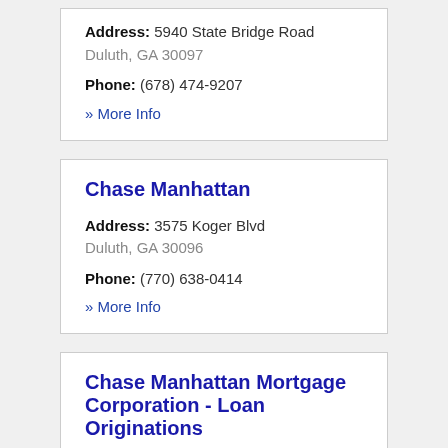Address: 5940 State Bridge Road Duluth, GA 30097
Phone: (678) 474-9207
» More Info
Chase Manhattan
Address: 3575 Koger Blvd Duluth, GA 30096
Phone: (770) 638-0414
» More Info
Chase Manhattan Mortgage Corporation - Loan Originations
Address: 3575 Koger Blvd